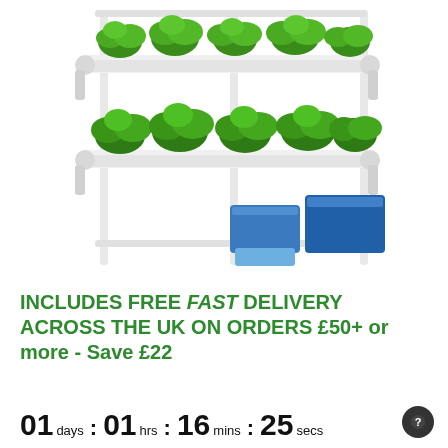[Figure (photo): A hydroponic growing system with white metal frame, multiple tiers of green leafy plants (lettuce), white PVC pipes and fittings, and blue water reservoir containers at the bottom.]
INCLUDES FREE FAST DELIVERY ACROSS THE UK ON ORDERS £50+ or more - Save £22
01 days : 01 hrs : 16 mins : 25 secs